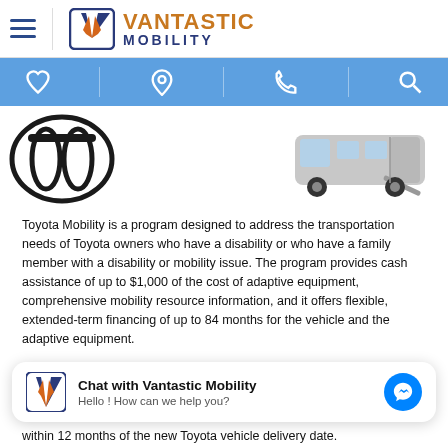Vantastic Mobility
[Figure (logo): Vantastic Mobility logo with stylized V icon and company name]
[Figure (illustration): Toyota logo (circular emblem) on left, wheelchair accessible van with ramp on right]
Toyota Mobility is a program designed to address the transportation needs of Toyota owners who have a disability or who have a family member with a disability or mobility issue. The program provides cash assistance of up to $1,000 of the cost of adaptive equipment, comprehensive mobility resource information, and it offers flexible, extended-term financing of up to 84 months for the vehicle and the adaptive equipment.
Chat with Vantastic Mobility
Hello ! How can we help you?
within 12 months of the new Toyota vehicle delivery date.